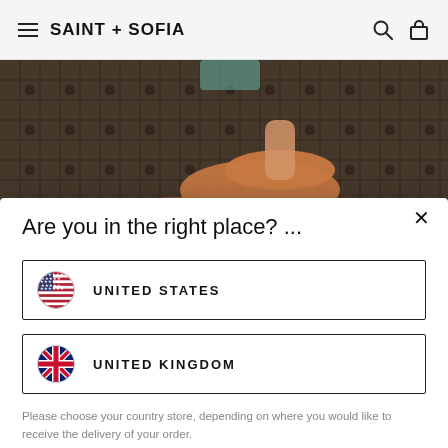SAINT + SOFIA
[Figure (photo): Close-up photo of a person's feet wearing brown suede shoes standing on a metal grid/drainage mat surface]
Are you in the right place? ...
UNITED STATES
UNITED KINGDOM
Please choose your country store, depending on where you would like to receive the delivery of your order.